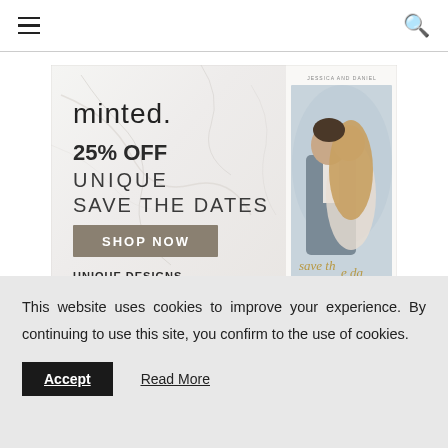≡  🔍
[Figure (illustration): Minted advertisement banner. Left half: marble background with 'minted.' logo, '25% OFF UNIQUE SAVE THE DATES', 'SHOP NOW' button in olive/taupe, 'UNIQUE DESIGNS, LUXE QUALITY' text, and a coffee cup at bottom. Right half: white card with photo of couple embracing, with 'save the date' in gold script overlay.]
This website uses cookies to improve your experience. By continuing to use this site, you confirm to the use of cookies.
Accept   Read More